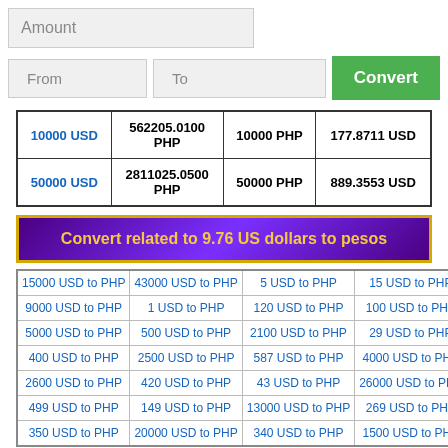Amount
| 10000 USD | 562205.0100 PHP | 10000 PHP | 177.8711 USD |
| --- | --- | --- | --- |
| 50000 USD | 2811025.0500 PHP | 50000 PHP | 889.3553 USD |
Convert related to 9.76 US dollars to pesos
| 15000 USD to PHP | 43000 USD to PHP | 5 USD to PHP | 15 USD to PHP |
| 9000 USD to PHP | 1 USD to PHP | 120 USD to PHP | 100 USD to PHP |
| 5000 USD to PHP | 500 USD to PHP | 2100 USD to PHP | 29 USD to PHP |
| 400 USD to PHP | 2500 USD to PHP | 587 USD to PHP | 4000 USD to PHP |
| 2600 USD to PHP | 420 USD to PHP | 43 USD to PHP | 26000 USD to PHP |
| 499 USD to PHP | 149 USD to PHP | 13000 USD to PHP | 269 USD to PHP |
| 350 USD to PHP | 20000 USD to PHP | 340 USD to PHP | 1500 USD to PHP |